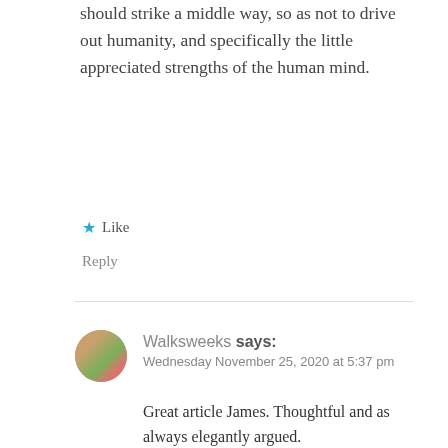should strike a middle way, so as not to drive out humanity, and specifically the little appreciated strengths of the human mind.
★ Like
Reply
Walksweeks says:
Wednesday November 25, 2020 at 5:37 pm
Great article James. Thoughtful and as always elegantly argued.
Angela Merkel expressed an aspect of this topic very simply and effectively on 29.10.20